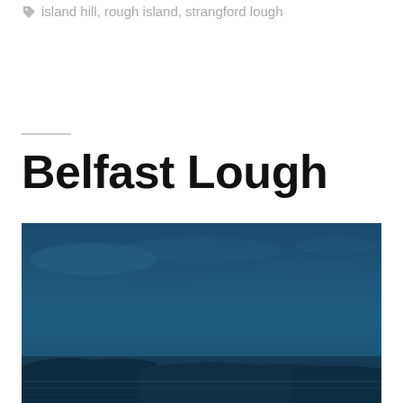island hill, rough island, strangford lough
Belfast Lough
[Figure (photo): A wide landscape photograph of Belfast Lough at dusk or twilight, showing a deep blue sky with subtle cloud formations above dark, low-lying hills or land masses silhouetted against the water. The scene is moody and atmospheric with predominantly dark teal and navy blue tones.]